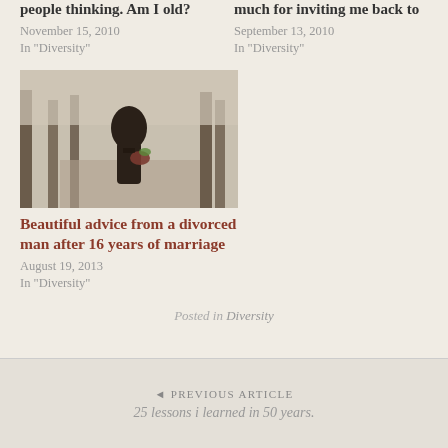people thinking. Am I old?
November 15, 2010
In "Diversity"
much for inviting me back to
September 13, 2010
In "Diversity"
[Figure (photo): Black and white photo of a person in a coat holding flowers in a tree-lined path]
Beautiful advice from a divorced man after 16 years of marriage
August 19, 2013
In "Diversity"
Posted in Diversity
◄ PREVIOUS ARTICLE
25 lessons i learned in 50 years.